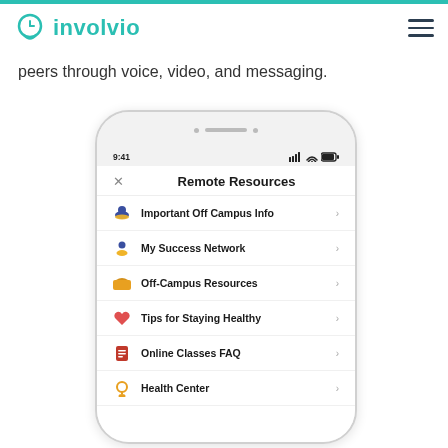involvio
peers through voice, video, and messaging.
[Figure (screenshot): Mobile app screenshot showing the Involvio app Remote Resources screen with menu items: Important Off Campus Info, My Success Network, Off-Campus Resources, Tips for Staying Healthy, Online Classes FAQ, Health Center. Status bar shows 9:41 time.]